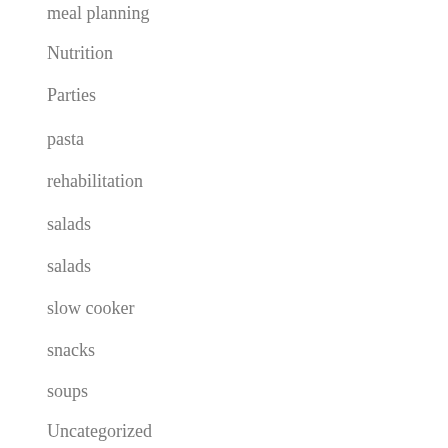meal planning
Nutrition
Parties
pasta
rehabilitation
salads
salads
slow cooker
snacks
soups
Uncategorized